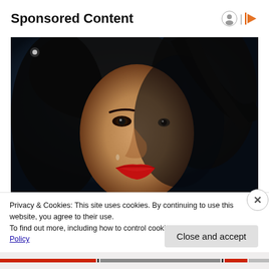Sponsored Content
[Figure (photo): Close-up portrait of a woman with dark hair and red lipstick, dramatically lit against a dark blue background, face partially shadowed]
Privacy & Cookies: This site uses cookies. By continuing to use this website, you agree to their use.
To find out more, including how to control cookies, see here: Cookie Policy
Close and accept